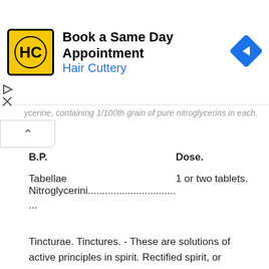[Figure (infographic): Advertisement banner: Hair Cuttery logo (HC in yellow square), 'Book a Same Day Appointment' heading, 'Hair Cuttery' subheading in blue, blue diamond arrow icon on the right, play/close icons on the left edge]
ycerine, containing 1/100th grain of pure nitroglycerins in each.
| B.P. | Dose. |
| --- | --- |
| Tabellae
Nitroglycerini......................... | 1 or two tablets. |
| ... |  |
Tincturae. Tinctures. - These are solutions of active principles in spirit. Rectified spirit, or alcohol, is used whenever the active principle is more soluble in strong than in dilute alcohol, as in the case of alkaloids, such as of veratrum viride; resins, such as asafoetida, benzoin, and Indian hemp; oils, such as those of cubebs, lavender, tolu, orange peel, larch bark, and ginger; and other substances, such as chloroform, acetate of iron, perchloride of iron, iodine, kino.